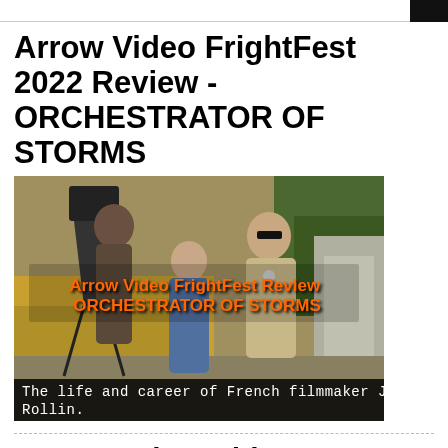Arrow Video FrightFest 2022 Review - ORCHESTRATOR OF STORMS
[Figure (photo): Photograph of French filmmaker Jean Rollin on a film set with crew members, overlaid with orange text reading 'Arrow Video FrightFest Review ORCHESTRATOR OF STORMS', and a black caption bar reading 'The life and career of French filmmaker Jean Rollin.']
New to Prime Video